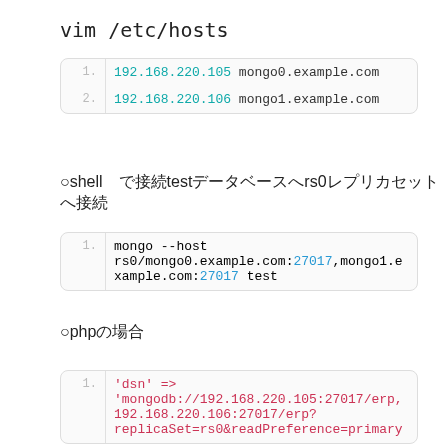vim /etc/hosts
1. 192.168.220.105 mongo0.example.com
2. 192.168.220.106 mongo1.example.com
○shell で接続testデータベースへrs0レプリカセットへ接続
1. mongo --host rs0/mongo0.example.com:27017,mongo1.example.com:27017 test
○phpの場合
1. 'dsn' => 'mongodb://192.168.220.105:27017/erp,192.168.220.106:27017/erp?replicaSet=rs0&readPreference=primary